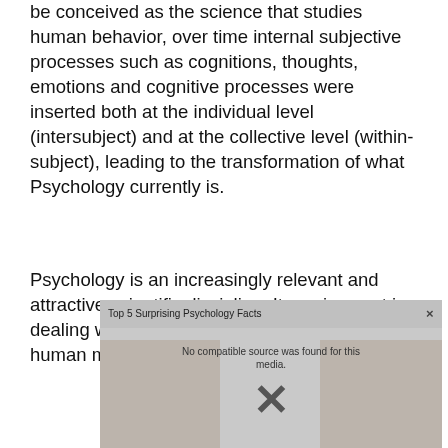be conceived as the science that studies human behavior, over time internal subjective processes such as cognitions, thoughts, emotions and cognitive processes were inserted both at the individual level (intersubject) and at the collective level (within-subject), leading to the transformation of what Psychology currently is.
Psychology is an increasingly relevant and attractive scientific discipline. Its main asset is dealing with ourselves, with the nature of the human mind and behavior, from which
[Figure (screenshot): A video player overlay showing 'Top 5 Surprising Psychology Facts' with a 'No compatible source was found for this media.' error message and an X close button.]